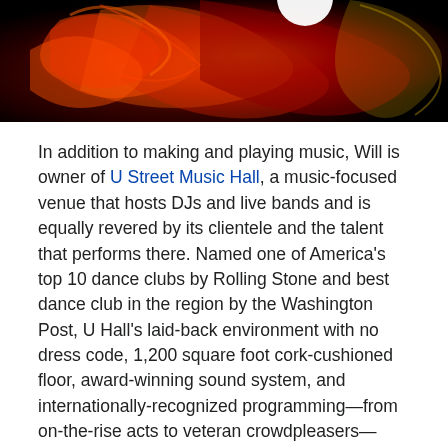[Figure (photo): Abstract red and black flame/swirl artwork, dark background with red fiery swirling patterns and a partial white circular shape at the top]
In addition to making and playing music, Will is owner of U Street Music Hall, a music-focused venue that hosts DJs and live bands and is equally revered by its clientele and the talent that performs there. Named one of America's top 10 dance clubs by Rolling Stone and best dance club in the region by the Washington Post, U Hall's laid-back environment with no dress code, 1,200 square foot cork-cushioned floor, award-winning sound system, and internationally-recognized programming—from on-the-rise acts to veteran crowdpleasers—have helped make it a music lover's paradise since opening in 2010.
RSVP here and come to the free performance at 6 PM on